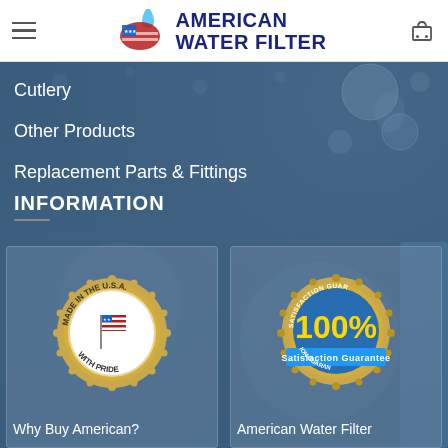[Figure (logo): American Water Filter logo with US map and water drop, company name in navy blue]
Cutlery
Other Products
Replacement Parts & Fittings
INFORMATION
[Figure (illustration): Made in the USA with Pride badge/seal with American flag]
Why Buy American?
[Figure (illustration): 100% Satisfaction Guarantee gold seal/badge]
American Water Filter